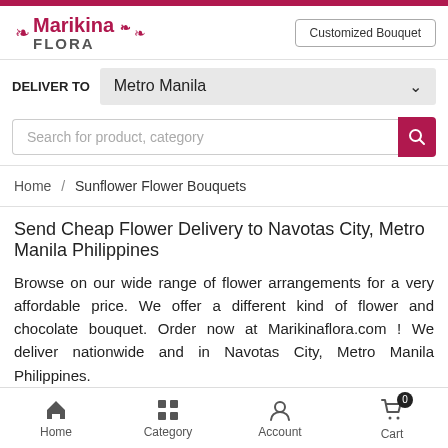Marikina FLORA — Customized Bouquet
DELIVER TO  Metro Manila
Search for product, category
Home / Sunflower Flower Bouquets
Send Cheap Flower Delivery to Navotas City, Metro Manila Philippines
Browse on our wide range of flower arrangements for a very affordable price. We offer a different kind of flower and chocolate bouquet. Order now at Marikinaflora.com ! We deliver nationwide and in Navotas City, Metro Manila Philippines.
Home  Category  Account  Cart 0